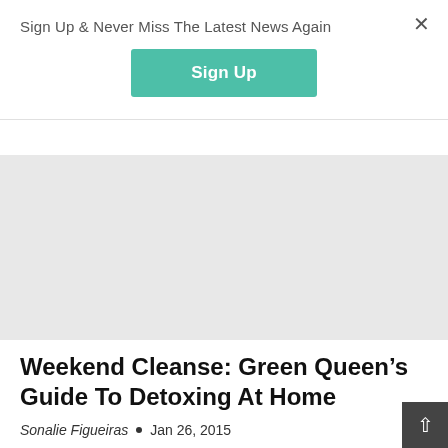Sign Up & Never Miss The Latest News Again
Sign Up
[Figure (photo): Light gray placeholder image area for article hero image]
Weekend Cleanse: Green Queen's Guide To Detoxing At Home
Sonalie Figueiras  •  Jan 26, 2015
It's January and we have all over-indulged over the holidays. Our natural instinct is to want to detox and cleanse our body of all the excess. That being said, many of us don't have the